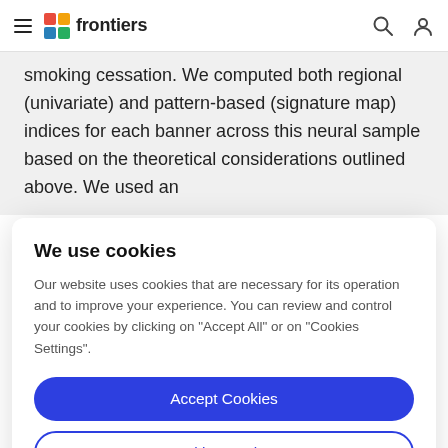frontiers
smoking cessation. We computed both regional (univariate) and pattern-based (signature map) indices for each banner across this neural sample based on the theoretical considerations outlined above. We used an
We use cookies
Our website uses cookies that are necessary for its operation and to improve your experience. You can review and control your cookies by clicking on "Accept All" or on "Cookies Settings".
Accept Cookies
Cookies Settings